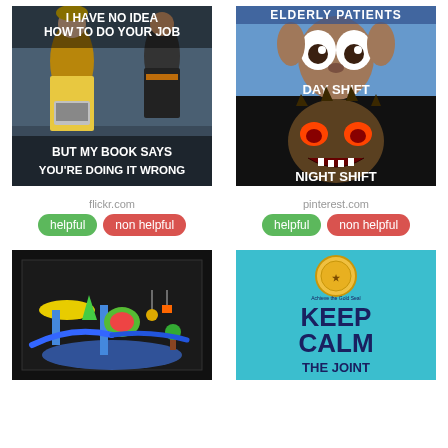[Figure (photo): Meme: construction workers, woman with laptop. Text: 'I HAVE NO IDEA HOW TO DO YOUR JOB BUT MY BOOK SAYS YOU'RE DOING IT WRONG']
[Figure (photo): Meme: Gremlins movie. Top: cute gremlin labeled 'DAY SHIFT', bottom: scary gremlin labeled 'NIGHT SHIFT'. Top text: 'ELDERLY PATIENTS']
flickr.com
pinterest.com
helpful
non helpful
helpful
non helpful
[Figure (photo): 3D rendered colorful playground equipment on dark background]
[Figure (illustration): Keep Calm style poster in blue/teal with gold seal logo. Text: 'KEEP CALM THE JOINT']